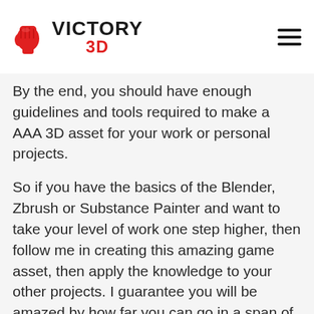VICTORY 3D
By the end, you should have enough guidelines and tools required to make a AAA 3D asset for your work or personal projects.
So if you have the basics of the Blender, Zbrush or Substance Painter and want to take your level of work one step higher, then follow me in creating this amazing game asset, then apply the knowledge to your other projects. I guarantee you will be amazed by how far you can go in a span of days. So join me in this course at Victory3D, and boost your skills like never before.